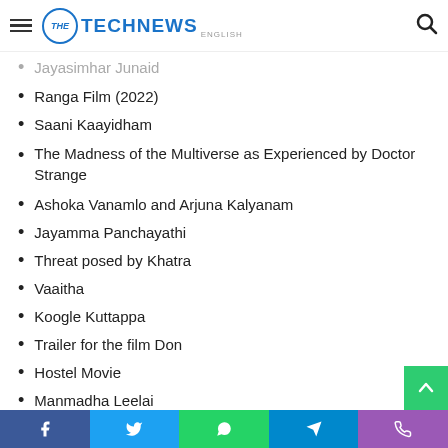THE TECHNEWS ENGLISH
Jayasimhar Junaid (partial, grayed out)
Ranga Film (2022)
Saani Kaayidham
The Madness of the Multiverse as Experienced by Doctor Strange
Ashoka Vanamlo and Arjuna Kalyanam
Jayamma Panchayathi
Threat posed by Khatra
Vaaitha
Koogle Kuttappa
Trailer for the film Don
Hostel Movie
Manmadha Leelai